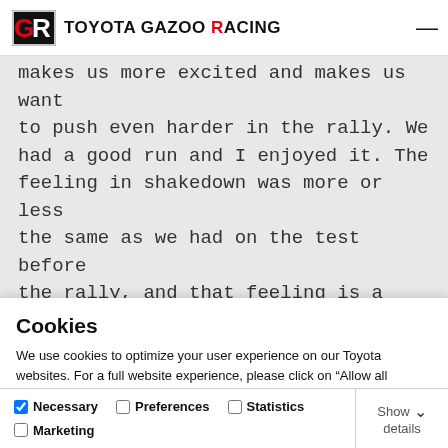Toyota Gazoo Racing
makes us more excited and makes us want to push even harder in the rally. We had a good run and I enjoyed it. The feeling in shakedown was more or less the same as we had on the test before the rally, and that feeling is a good one. I’m quite happy with the car and
Cookies
We use cookies to optimize your user experience on our Toyota websites. For a full website experience, please click on “Allow all cookies.” To find out more about the cookies we use and how to disable them, click here.
Allow all cookies
Allow selection
Use necessary cookies only
Necessary  Preferences  Statistics  Marketing  Show details